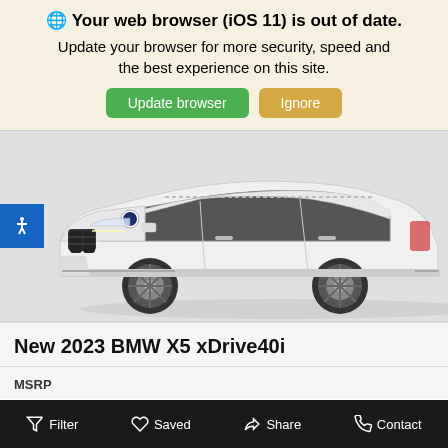🌐 Your web browser (iOS 11) is out of date. Update your browser for more security, speed and the best experience on this site.
Update browser | Ignore
[Figure (photo): White BMW X5 xDrive40i SUV on a light gray background, front three-quarter view]
New 2023 BMW X5 xDrive40i
MSRP
Filter | Saved | Share | Contact